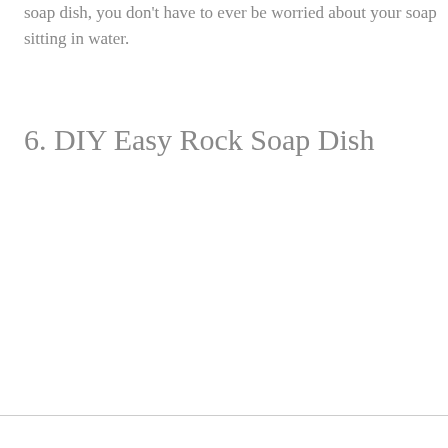soap dish, you don't have to ever be worried about your soap sitting in water.
6. DIY Easy Rock Soap Dish